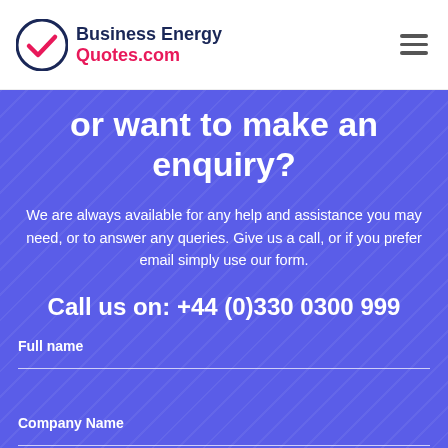Business Energy Quotes.com
or want to make an enquiry?
We are always available for any help and assistance you may need, or to answer any queries. Give us a call, or if you prefer email simply use our form.
Call us on: +44 (0)330 0300 999
Full name
Company Name